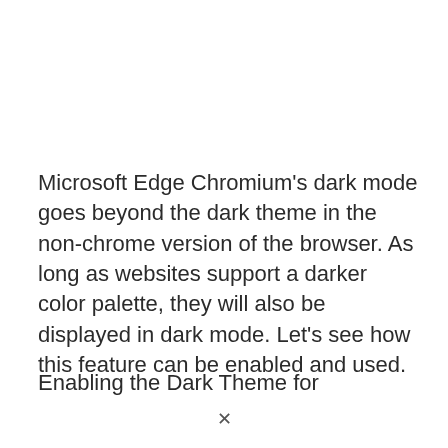Microsoft Edge Chromium's dark mode goes beyond the dark theme in the non-chrome version of the browser. As long as websites support a darker color palette, they will also be displayed in dark mode. Let's see how this feature can be enabled and used.
Enabling the Dark Theme for